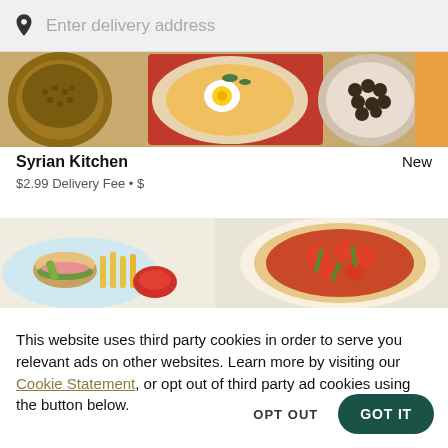Enter delivery address
[Figure (photo): Food photo showing Syrian dishes including bowls of grains, olives, eggs, and sauce]
Syrian Kitchen
New
$2.99 Delivery Fee • $
[Figure (photo): Food photo showing a sandwich with fries, dipping sauce, and a pizza with vegetables]
This website uses third party cookies in order to serve you relevant ads on other websites. Learn more by visiting our Cookie Statement, or opt out of third party ad cookies using the button below.
OPT OUT
GOT IT